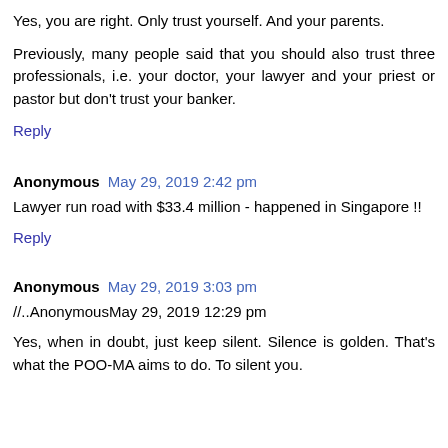Yes, you are right. Only trust yourself. And your parents.
Previously, many people said that you should also trust three professionals, i.e. your doctor, your lawyer and your priest or pastor but don't trust your banker.
Reply
Anonymous May 29, 2019 2:42 pm
Lawyer run road with $33.4 million - happened in Singapore !!
Reply
Anonymous May 29, 2019 3:03 pm
//..AnonymousMay 29, 2019 12:29 pm
Yes, when in doubt, just keep silent. Silence is golden. That's what the POO-MA aims to do. To silent you.